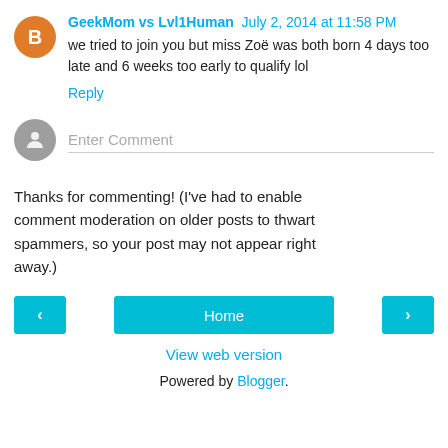GeekMom vs Lvl1Human  July 2, 2014 at 11:58 PM
we tried to join you but miss Zoë was both born 4 days too late and 6 weeks too early to qualify lol
Reply
Enter Comment
Thanks for commenting! (I've had to enable comment moderation on older posts to thwart spammers, so your post may not appear right away.)
Home
View web version
Powered by Blogger.